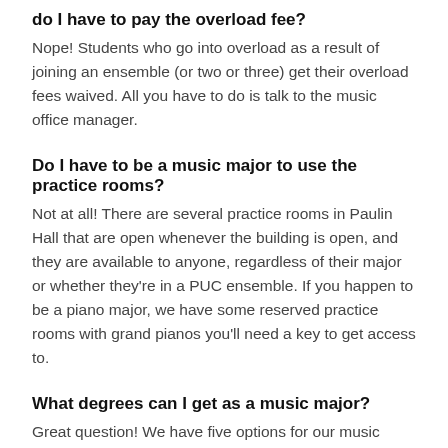do I have to pay the overload fee?
Nope! Students who go into overload as a result of joining an ensemble (or two or three) get their overload fees waived. All you have to do is talk to the music office manager.
Do I have to be a music major to use the practice rooms?
Not at all! There are several practice rooms in Paulin Hall that are open whenever the building is open, and they are available to anyone, regardless of their major or whether they're in a PUC ensemble. If you happen to be a piano major, we have some reserved practice rooms with grand pianos you'll need a key to get access to.
What degrees can I get as a music major?
Great question! We have five options for our music majors to choose from:
Bachelor of Science in Music